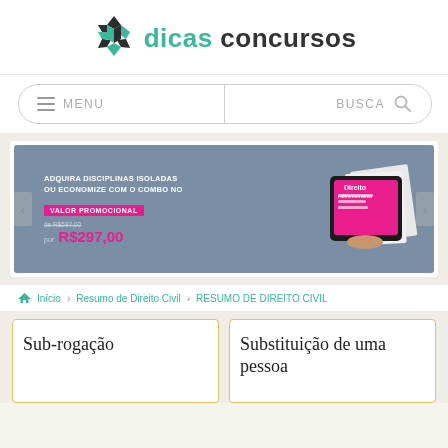[Figure (logo): Dicas Concursos logo with geometric diamond icon in black and green, and text 'dicas concursos']
[Figure (screenshot): Navigation bar with hamburger menu (MENU) on left and search icon (BUSCA) on right, inside a rounded pill border]
[Figure (infographic): Promotional banner with grey-blue background: 'ADQUIRA DISCIPLINAS ISOLADAS OU ECONOMIZE COM O COMBO NO VALOR PROMOCIONAL' with pink highlight label, old price struck through, new price R$297,00 in pink, and tablet/book images on right]
Início > Resumo de Direito Civil > RESUMO DE DIREITO CIVIL
Sub-rogação
Substituição de uma pessoa